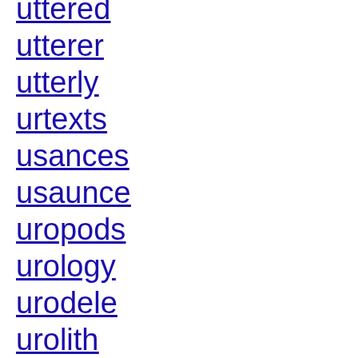uttered
utterer
utterly
urtexts
usances
usaunce
uropods
urology
urodele
urolith